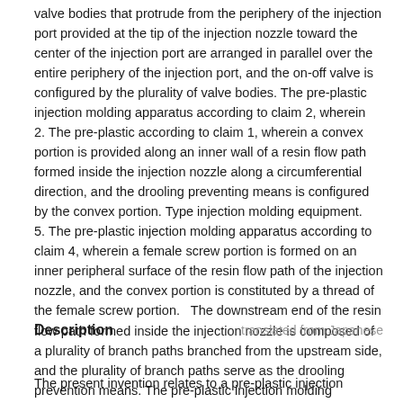valve bodies that protrude from the periphery of the injection port provided at the tip of the injection nozzle toward the center of the injection port are arranged in parallel over the entire periphery of the injection port, and the on-off valve is configured by the plurality of valve bodies. The pre-plastic injection molding apparatus according to claim 2, wherein   2. The pre-plastic according to claim 1, wherein a convex portion is provided along an inner wall of a resin flow path formed inside the injection nozzle along a circumferential direction, and the drooling preventing means is configured by the convex portion. Type injection molding equipment.   5. The pre-plastic injection molding apparatus according to claim 4, wherein a female screw portion is formed on an inner peripheral surface of the resin flow path of the injection nozzle, and the convex portion is constituted by a thread of the female screw portion.   The downstream end of the resin flow path formed inside the injection nozzle is composed of a plurality of branch paths branched from the upstream side, and the plurality of branch paths serve as the drooling prevention means. The pre-plastic injection molding apparatus according to claim 1.
Description
translated from Japanese
The present invention relates to a pre-plastic injection